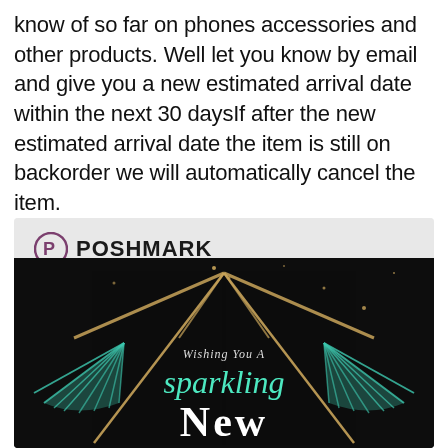know of so far on phones accessories and other products. Well let you know by email and give you a new estimated arrival date within the next 30 daysIf after the new estimated arrival date the item is still on backorder we will automatically cancel the item.
[Figure (illustration): Poshmark promotional banner with logo on gray background at top, and a dark festive image below featuring teal fan/firework decorations, crossed champagne glasses made of gold glitter, and text reading 'Wishing You A sparkling New' in white and teal script on black background.]